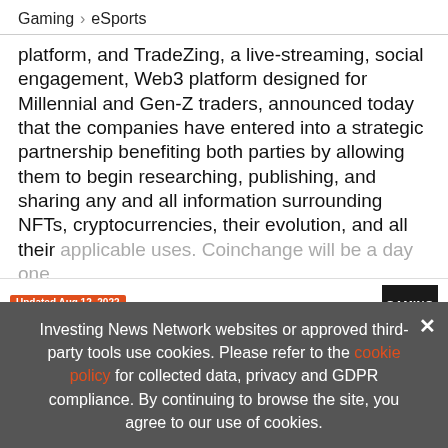Gaming > eSports
platform, and TradeZing, a live-streaming, social engagement, Web3 platform designed for Millennial and Gen-Z traders, announced today that the companies have entered into a strategic partnership benefiting both parties by allowing them to begin researching, publishing, and sharing any and all information surrounding NFTs, cryptocurrencies, their evolution, and all their applicable uses. Coinchange will be a day one part... the platt... company access to its own exclusive channel to
[Figure (other): INN 2022 Gaming Metals Outlook Report advertisement banner with book cover showing 'GAMING OUTLOOK 2022', dated Updated Aug 12, 2022. Text reads: '2022 Gaming Metals Outlook Report TOP GAMING Stocks, Trends, Expert Forecasts']
Investing News Network websites or approved third-party tools use cookies. Please refer to the cookie policy for collected data, privacy and GDPR compliance. By continuing to browse the site, you agree to our use of cookies.